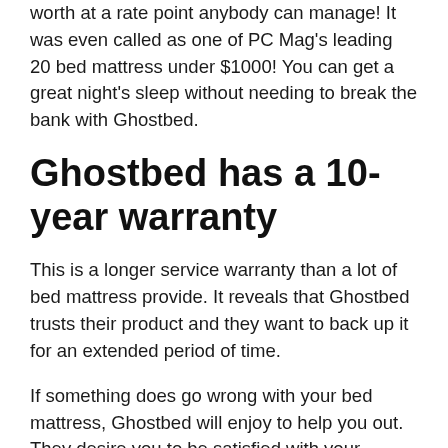worth at a rate point anybody can manage! It was even called as one of PC Mag's leading 20 bed mattress under $1000! You can get a great night's sleep without needing to break the bank with Ghostbed.
Ghostbed has a 10-year warranty
This is a longer service warranty than a lot of bed mattress provide. It reveals that Ghostbed trusts their product and they want to back up it for an extended period of time.
If something does go wrong with your bed mattress, Ghostbed will enjoy to help you out. They desire you to be satisfied with your